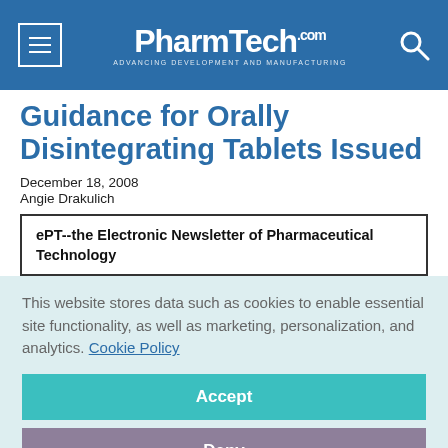PharmTech.com — Advancing Development and Manufacturing
Guidance for Orally Disintegrating Tablets Issued
December 18, 2008
Angie Drakulich
ePT--the Electronic Newsletter of Pharmaceutical Technology
This website stores data such as cookies to enable essential site functionality, as well as marketing, personalization, and analytics. Cookie Policy
Accept
Deny